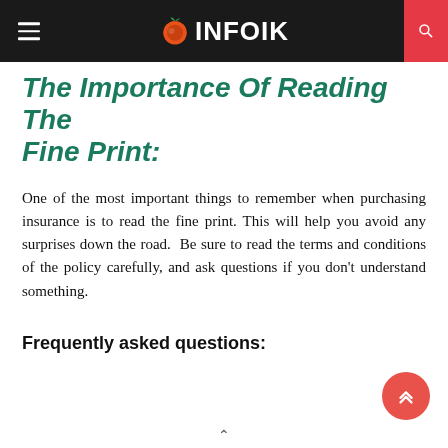INFOIK
The Importance Of Reading The Fine Print:
One of the most important things to remember when purchasing insurance is to read the fine print. This will help you avoid any surprises down the road. Be sure to read the terms and conditions of the policy carefully, and ask questions if you don't understand something.
Frequently asked questions: